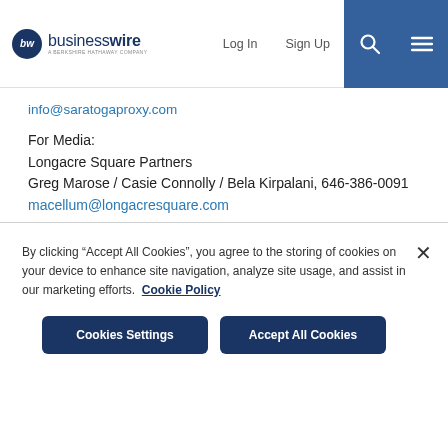businesswire | Log In | Sign Up
info@saratogaproxy.com
For Media:
Longacre Square Partners
Greg Marose / Casie Connolly / Bela Kirpalani, 646-386-0091
macellum@longacresquare.com
MACELLUM ADVISORS GP, LLC
NYSE:KSS
By clicking “Accept All Cookies”, you agree to the storing of cookies on your device to enhance site navigation, analyze site usage, and assist in our marketing efforts. Cookie Policy
Cookies Settings
Accept All Cookies